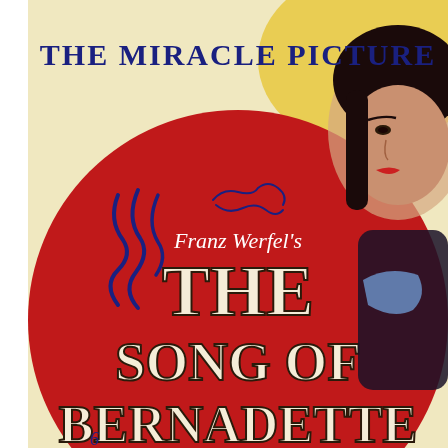[Figure (illustration): Vintage movie poster for 'The Song of Bernadette' (Franz Werfel's). Top reads 'THE MIRACLE PICTURE' in dark blue serif capitals on a cream/yellow background. A woman's face (dark hair, red lips) appears at upper right. Large red circular shape in center contains the title text. 'Franz Werfel's' in white cursive script, then 'THE SONG OF BERNADETTE' in very large bold cream/white serif letters with dark outline. Blue decorative calligraphic strokes at left center. Figure of woman in dark clothing with blue accent visible at right.]